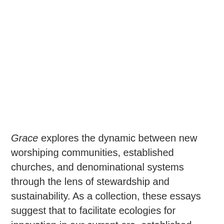Grace explores the dynamic between new worshiping communities, established churches, and denominational systems through the lens of stewardship and sustainability. As a collection, these essays suggest that to facilitate ecologies for innovation in our current era, established congregations and new faith communities must model the sustaining grace of God to one another in creative ways. Thus, problems of sustainability are not for NWC leaders and church pastors to